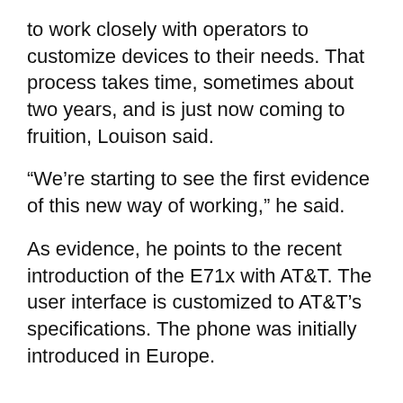to work closely with operators to customize devices to their needs. That process takes time, sometimes about two years, and is just now coming to fruition, Louison said.
“We’re starting to see the first evidence of this new way of working,” he said.
As evidence, he points to the recent introduction of the E71x with AT&T. The user interface is customized to AT&T’s specifications. The phone was initially introduced in Europe.
“So the E71 is the evolution of a global product but you’re starting to see products coming here first too,” he said.